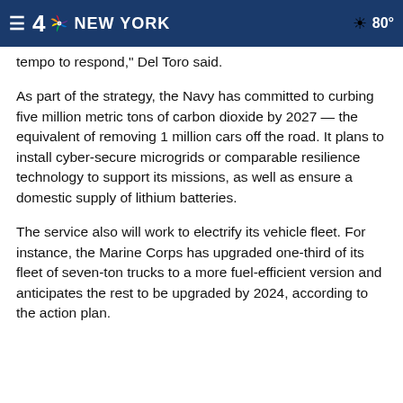4 NBC NEW YORK  80°
tempo to respond," Del Toro said.
As part of the strategy, the Navy has committed to curbing five million metric tons of carbon dioxide by 2027 — the equivalent of removing 1 million cars off the road. It plans to install cyber-secure microgrids or comparable resilience technology to support its missions, as well as ensure a domestic supply of lithium batteries.
The service also will work to electrify its vehicle fleet. For instance, the Marine Corps has upgraded one-third of its fleet of seven-ton trucks to a more fuel-efficient version and anticipates the rest to be upgraded by 2024, according to the action plan.